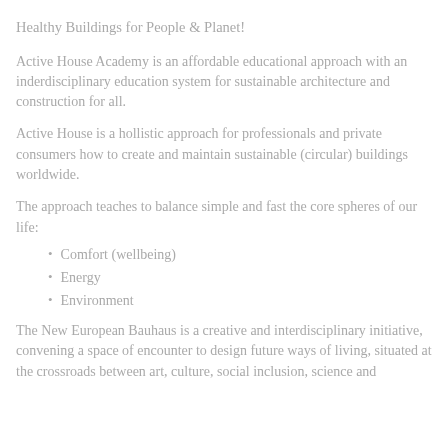Healthy Buildings for People & Planet!
Active House Academy is an affordable educational approach with an inderdisciplinary education system for sustainable architecture and construction for all.
Active House is a hollistic approach for professionals and private consumers how to create and maintain sustainable (circular) buildings worldwide.
The approach teaches to balance simple and fast the core spheres of our life:
Comfort (wellbeing)
Energy
Environment
The New European Bauhaus is a creative and interdisciplinary initiative, convening a space of encounter to design future ways of living, situated at the crossroads between art, culture, social inclusion, science and